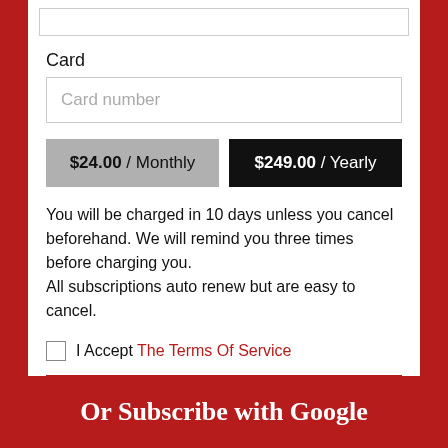Card
Card number
$24.00 / Monthly
$249.00 / Yearly
You will be charged in 10 days unless you cancel beforehand. We will remind you three times before charging you.
All subscriptions auto renew but are easy to cancel.
I Accept The Terms Of Service
Create Subscription
Or Subscribe with Google